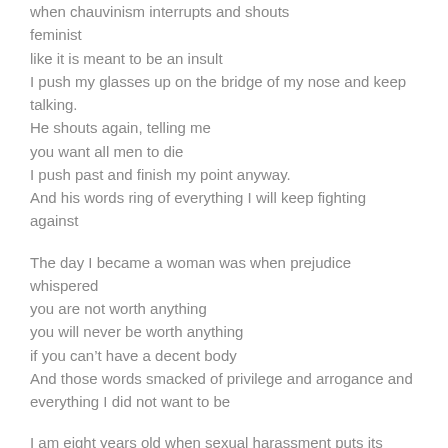when chauvinism interrupts and shouts
feminist
like it is meant to be an insult
I push my glasses up on the bridge of my nose and keep talking.
He shouts again, telling me
you want all men to die
I push past and finish my point anyway.
And his words ring of everything I will keep fighting against

The day I became a woman was when prejudice whispered
you are not worth anything
you will never be worth anything
if you can't have a decent body
And those words smacked of privilege and arrogance and
everything I did not want to be

I am eight years old when sexual harassment puts its palm to my
face and says
you are so beautiful it is a shame
your father must be so ugly